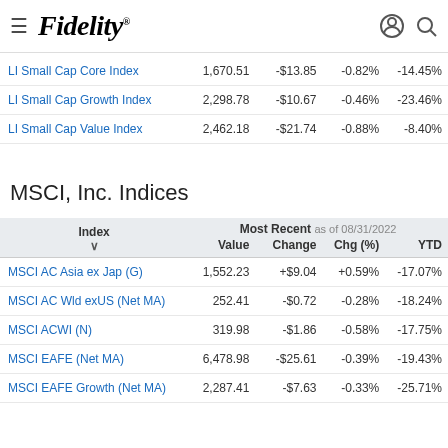Fidelity
| Index | Value | Change | Chg (%) | YTD |
| --- | --- | --- | --- | --- |
| LI Small Cap Core Index | 1,670.51 | -$13.85 | -0.82% | -14.45% |
| LI Small Cap Growth Index | 2,298.78 | -$10.67 | -0.46% | -23.46% |
| LI Small Cap Value Index | 2,462.18 | -$21.74 | -0.88% | -8.40% |
MSCI, Inc. Indices
| Index | Value | Change | Chg (%) | YTD |
| --- | --- | --- | --- | --- |
| MSCI AC Asia ex Jap (G) | 1,552.23 | +$9.04 | +0.59% | -17.07% |
| MSCI AC Wld exUS (Net MA) | 252.41 | -$0.72 | -0.28% | -18.24% |
| MSCI ACWI (N) | 319.98 | -$1.86 | -0.58% | -17.75% |
| MSCI EAFE (Net MA) | 6,478.98 | -$25.61 | -0.39% | -19.43% |
| MSCI EAFE Growth (Net MA) | 2,287.41 | -$7.63 | -0.33% | -25.71% |